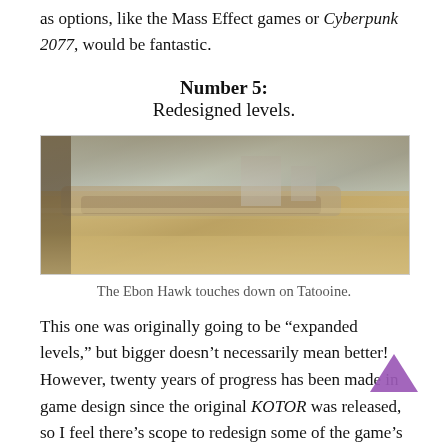as options, like the Mass Effect games or Cyberpunk 2077, would be fantastic.
Number 5:
Redesigned levels.
[Figure (photo): Screenshot of the Ebon Hawk spacecraft landing on Tatooine, showing a desert environment with sandy terrain and structures.]
The Ebon Hawk touches down on Tatooine.
This one was originally going to be “expanded levels,” but bigger doesn’t necessarily mean better! However, twenty years of progress has been made in game design since the original KOTOR was released, so I feel there’s scope to redesign some of the game’s levels to reflect